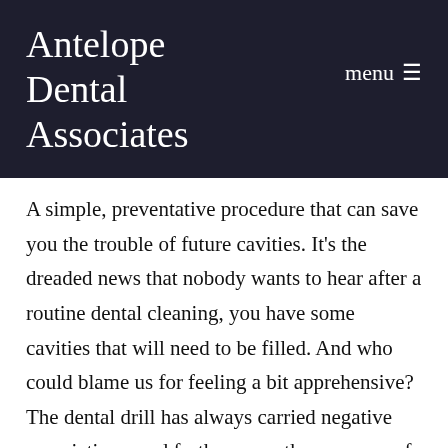Antelope Dental Associates
A simple, preventative procedure that can save you the trouble of future cavities. It's the dreaded news that nobody wants to hear after a routine dental cleaning, you have some cavities that will need to be filled. And who could blame us for feeling a bit apprehensive? The dental drill has always carried negative associations, and furthermore, the presence of cavities means your teeth are not getting the protection